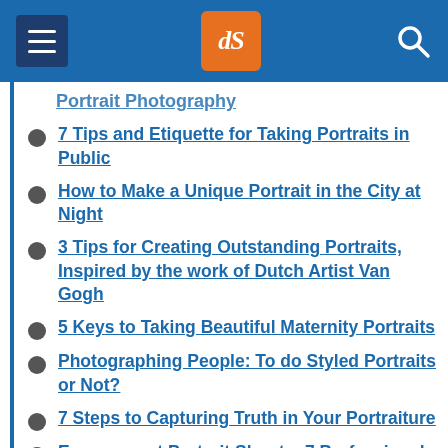dPS (digital photography school) header with navigation
Portrait Photography (partial, top of list)
7 Tips and Etiquette for Taking Portraits in Public
How to Make a Unique Portrait in the City at Night
3 Tips for Creating Outstanding Portraits, Inspired by the work of Dutch Artist Van Gogh
5 Keys to Taking Beautiful Maternity Portraits
Photographing People: To do Styled Portraits or Not?
7 Steps to Capturing Truth in Your Portraiture
Engagement Portrait Shoots: 7 Professional Tips to take your Engagement Shoots to the (partial)